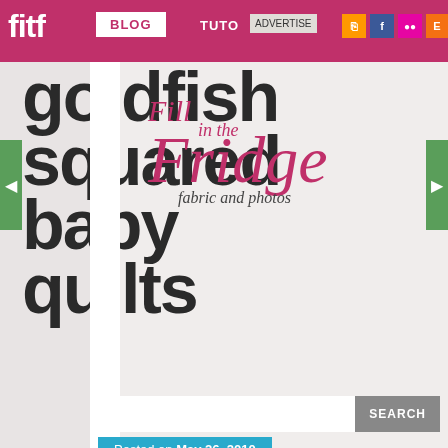fitf | BLOG | TUTO | ADVERTISE
[Figure (screenshot): Blog header with 'Fill in the Fridge' logo overlapping 'goldfish squared baby quilts' title text]
goldfish squared baby quilts
Fill in the Fridge - fabric and photos
SEARCH
Posted on May 26, 2010
Favorites:
a quilt is nice
Cluck Cluck Sew
Crazy Mom Quilts
Made By Rae
Noodlehead
Sew Katie Did